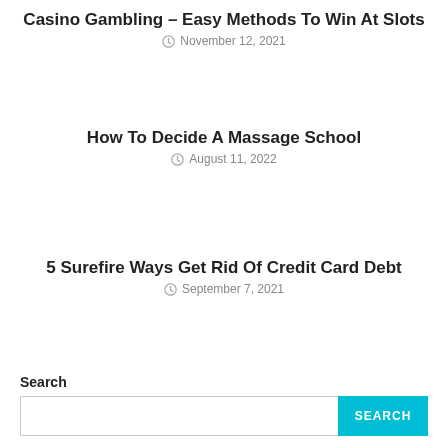Casino Gambling – Easy Methods To Win At Slots
November 12, 2021
How To Decide A Massage School
August 11, 2022
5 Surefire Ways Get Rid Of Credit Card Debt
September 7, 2021
Search